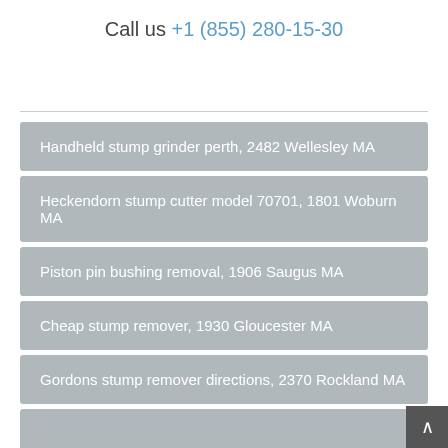Call us +1 (855) 280-15-30
Handheld stump grinder perth, 2482 Wellesley MA
Heckendorn stump cutter model 70701, 1801 Woburn MA
Piston pin bushing removal, 1906 Saugus MA
Cheap stump remover, 1930 Gloucester MA
Gordons stump remover directions, 2370 Rockland MA